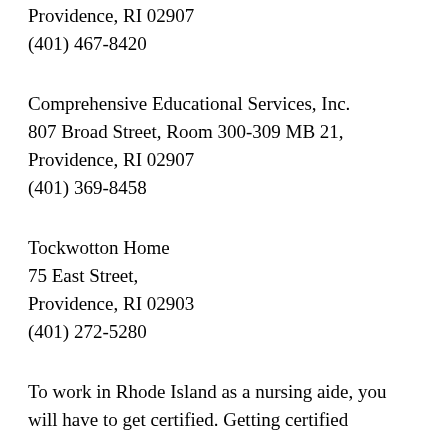Providence, RI 02907
(401) 467-8420
Comprehensive Educational Services, Inc.
807 Broad Street, Room 300-309 MB 21,
Providence, RI 02907
(401) 369-8458
Tockwotton Home
75 East Street,
Providence, RI 02903
(401) 272-5280
To work in Rhode Island as a nursing aide, you will have to get certified. Getting certified in this state means that you'll need to